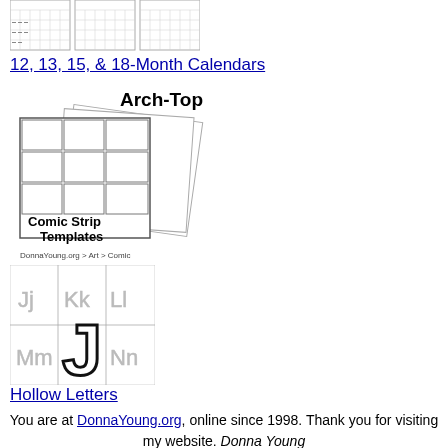[Figure (illustration): Thumbnail image showing calendar pages]
12, 13, 15, & 18-Month Calendars
[Figure (illustration): Arch-Top Comic Strip Templates image showing stacked comic panel layouts with text 'Arch-Top Comic Strip Templates DonnaYoung.org > Art > Comic']
[Figure (illustration): Hollow Letters image showing alphabet letters Jj, Kk, Ll, Mm, Nn with a large hollow J letter highlighted]
Hollow Letters
You are at DonnaYoung.org, online since 1998. Thank you for visiting my website. Donna Young
Back to Top